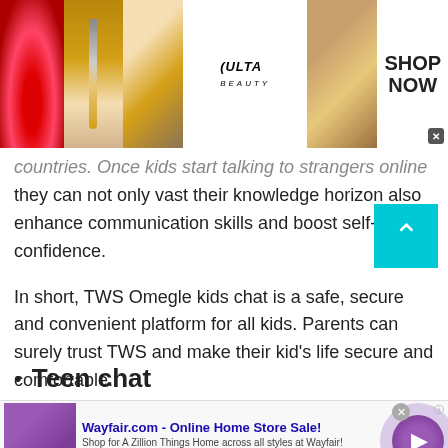[Figure (photo): Ulta Beauty banner advertisement with makeup photos (lips, brush, eyes) and SHOP NOW call to action]
countries. Once kids start talking to strangers online they can not only vast their knowledge horizon also enhance communication skills and boost self-confidence.
In short, TWS Omegle kids chat is a safe, secure and convenient platform for all kids. Parents can surely trust TWS and make their kid's life secure and comfortable.
Teen chat
[Figure (infographic): Wayfair.com online home store sale advertisement with bedroom furniture thumbnail, store name, description and www.wayfair.com URL, with play button]